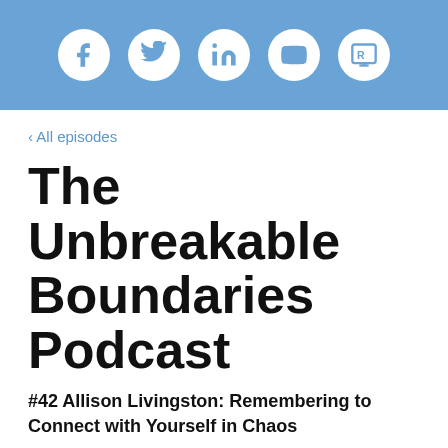[Figure (illustration): Blue header bar with five white circular social media icons: Facebook (f), Twitter (bird), LinkedIn (in), YouTube (play button), and a website/Repod icon]
‹ All episodes
The Unbreakable Boundaries Podcast
#42 Allison Livingston: Remembering to Connect with Yourself in Chaos
MAY 04, 2021   JENNIFER MANEELY   EPISODE 42
[Figure (screenshot): Podcast card preview showing 'The Unbreakable Boundaries Po...' and '#42 Allison Livingsto...' in bold]